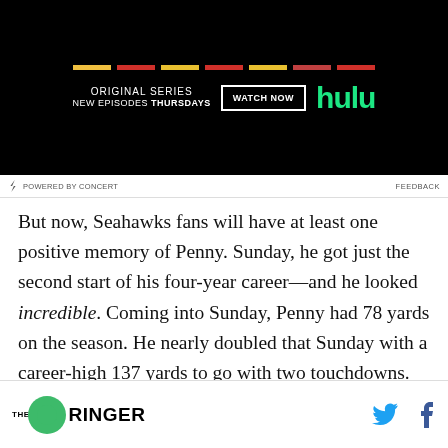[Figure (other): Hulu advertisement banner: ORIGINAL SERIES NEW EPISODES THURSDAYS with WATCH NOW button and Hulu logo in green on black background]
⚡ POWERED BY CONCERT    FEEDBACK
But now, Seahawks fans will have at least one positive memory of Penny. Sunday, he got just the second start of his four-year career—and he looked incredible. Coming into Sunday, Penny had 78 yards on the season. He nearly doubled that Sunday with a career-high 137 yards to go with two touchdowns.
THE RINGER [social icons: Twitter, Facebook]